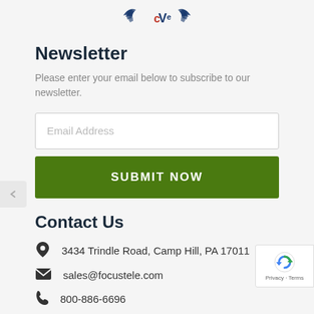[Figure (logo): CVe logo with blue laurel wings on either side and red CVe text in the center]
Newsletter
Please enter your email below to subscribe to our newsletter.
Email Address
SUBMIT NOW
Contact Us
3434 Trindle Road, Camp Hill, PA 17011
sales@focustele.com
800-886-6696